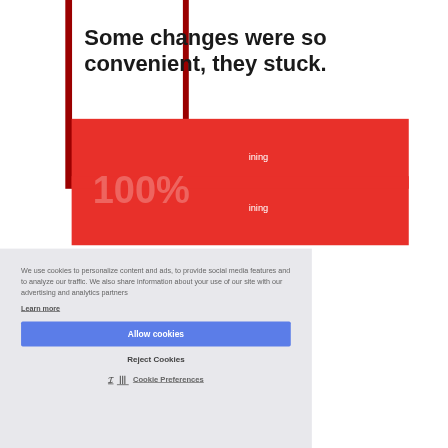Some changes were so convenient, they stuck.
We use cookies to personalize content and ads, to provide social media features and to analyze our traffic. We also share information about your use of our site with our advertising and analytics partners
Learn more
Allow cookies
Reject Cookies
Cookie Preferences